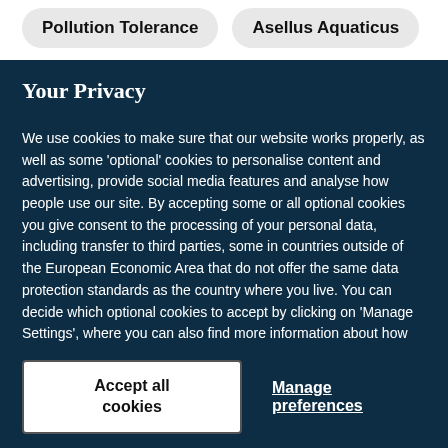Pollution Tolerance
Asellus Aquaticus
Your Privacy
We use cookies to make sure that our website works properly, as well as some ‘optional’ cookies to personalise content and advertising, provide social media features and analyse how people use our site. By accepting some or all optional cookies you give consent to the processing of your personal data, including transfer to third parties, some in countries outside of the European Economic Area that do not offer the same data protection standards as the country where you live. You can decide which optional cookies to accept by clicking on ‘Manage Settings’, where you can also find more information about how your personal data is processed. Further information can be found in our privacy policy.
Accept all cookies
Manage preferences